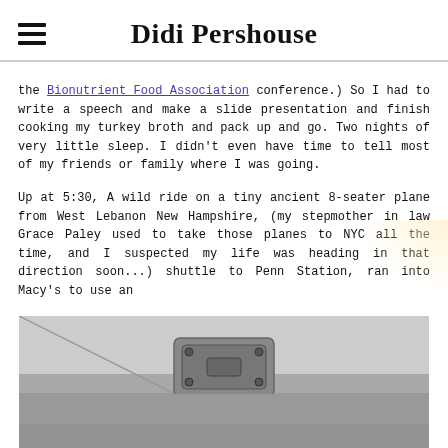Didi Pershouse
the Bionutrient Food Association conference.) So I had to write a speech and make a slide presentation and finish cooking my turkey broth and pack up and go. Two nights of very little sleep. I didn't even have time to tell most of my friends or family where I was going.
Up at 5:30, A wild ride on a tiny ancient 8-seater plane from West Lebanon New Hampshire, (my stepmother in law Grace Paley used to take those planes to NYC all the time, and I suspected my life was heading in that direction soon...) shuttle to Penn Station, ran into Macy's to use an
[Figure (photo): Interior photo of a small plane ceiling showing an overhead vent or light fixture, gray/beige tones]